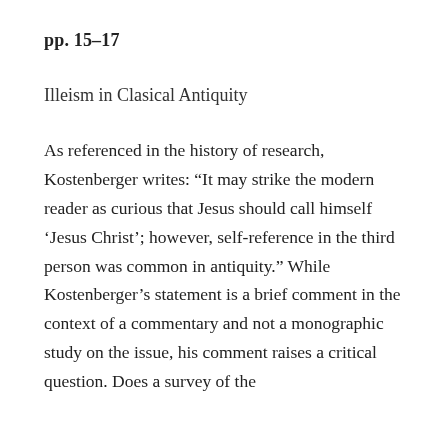pp. 15–17
Illeism in Clasical Antiquity
As referenced in the history of research, Kostenberger writes: “It may strike the modern reader as curious that Jesus should call himself ‘Jesus Christ’; however, self-reference in the third person was common in antiquity.” While Kostenberger’s statement is a brief comment in the context of a commentary and not a monographic study on the issue, his comment raises a critical question. Does a survey of the